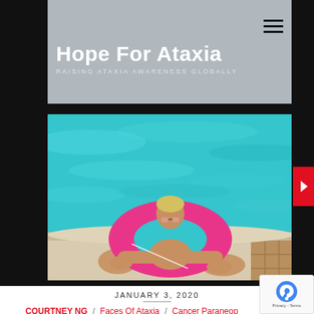Hope For Ataxia — RAISING ATAXIA AWARENESS GLOBALLY
[Figure (photo): Person in pink inflatable ring float at a swimming pool, resting arms on pool edge, smiling at camera. Turquoise pool water in background.]
JANUARY 3, 2020
COURTNEY NG / Faces Of Ataxia / Cancer Paraneoplastic Cerebellar Degeneration PCD